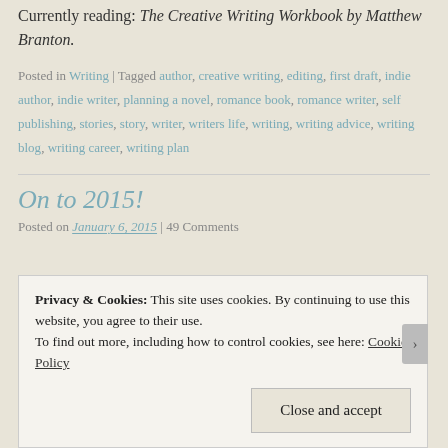Currently reading: The Creative Writing Workbook by Matthew Branton.
Posted in Writing | Tagged author, creative writing, editing, first draft, indie author, indie writer, planning a novel, romance book, romance writer, self publishing, stories, story, writer, writers life, writing, writing advice, writing blog, writing career, writing plan
On to 2015!
Posted on January 6, 2015 | 49 Comments
Privacy & Cookies: This site uses cookies. By continuing to use this website, you agree to their use.
To find out more, including how to control cookies, see here: Cookie Policy
Close and accept